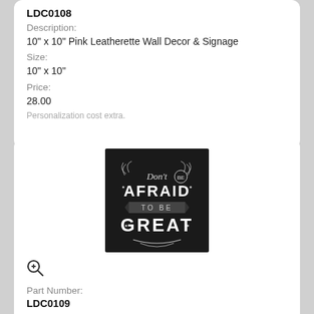LDC0108
Description:
10" x 10" Pink Leatherette Wall Decor & Signage
Size:
10" x 10"
Price:
28.00
Personalization cost extra.
[Figure (photo): Black leatherette wall decor square with white chalk-style lettering reading 'Don't be AFRAID to be GREAT' with decorative floral elements]
Part Number:
LDC0109
Description: